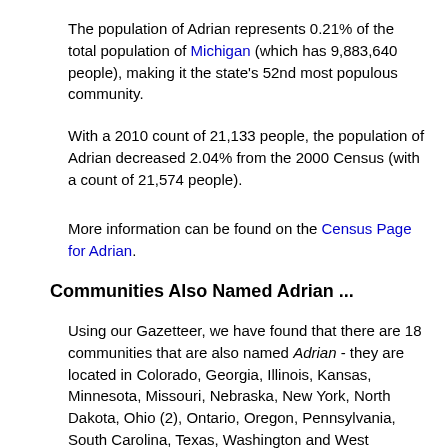The population of Adrian represents 0.21% of the total population of Michigan (which has 9,883,640 people), making it the state's 52nd most populous community.
With a 2010 count of 21,133 people, the population of Adrian decreased 2.04% from the 2000 Census (with a count of 21,574 people).
More information can be found on the Census Page for Adrian.
Communities Also Named Adrian ...
Using our Gazetteer, we have found that there are 18 communities that are also named Adrian - they are located in Colorado, Georgia, Illinois, Kansas, Minnesota, Missouri, Nebraska, New York, North Dakota, Ohio (2), Ontario, Oregon, Pennsylvania, South Carolina, Texas, Washington and West Virginia.
For more information, see our Tidbits & Trivia Page for Adrian.